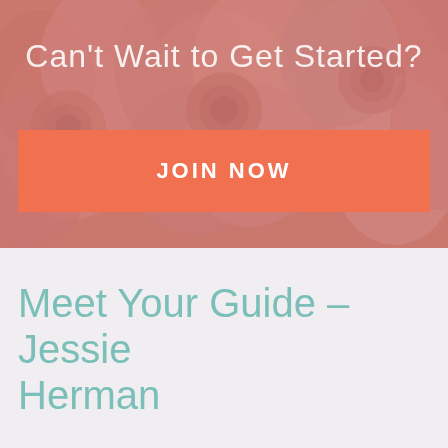[Figure (photo): Background photo of pink ranunculus flowers with a pinkish-red color overlay]
Can't Wait to Get Started?
JOIN NOW
Meet Your Guide – Jessie Herman